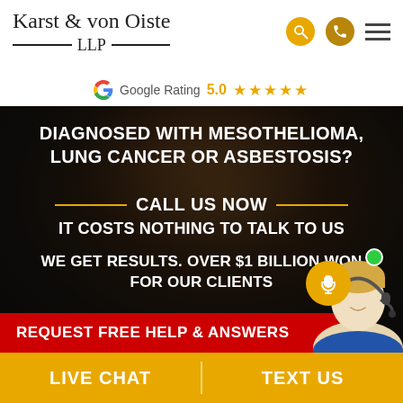[Figure (logo): Karst & von Oiste LLP law firm logo with horizontal rules around LLP]
Google Rating 5.0 ★★★★★
[Figure (photo): Dark background photo of a miner with helmet, overlaid with white uppercase text: DIAGNOSED WITH MESOTHELIOMA, LUNG CANCER OR ASBESTOSIS? — CALL US NOW — IT COSTS NOTHING TO TALK TO US — WE GET RESULTS. OVER $1 BILLION WON FOR OUR CLIENTS. Red bar at bottom: REQUEST FREE HELP & ANSWERS. Chat avatar overlay at bottom right.]
LIVE CHAT
TEXT US